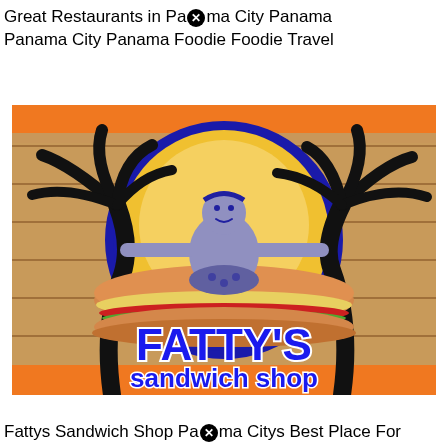Great Restaurants in Panama City Panama Panama City Panama Foodie Foodie Travel
[Figure (logo): Fatty's Sandwich Shop logo featuring a large colorful sandwich, two palm trees, a heavyset cartoon character, and the text FATTY'S sandwich shop on a wooden plank background with orange banner.]
Fattys Sandwich Shop Panama Citys Best Place For